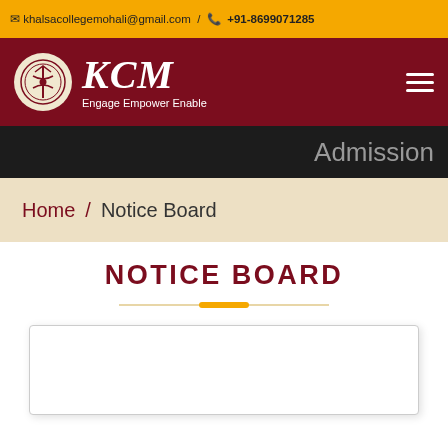✉ khalsacollegemohali@gmail.com / 📞 +91-8699071285
[Figure (logo): KCM Khalsa College Mohali logo with text 'KCM' and tagline 'Engage Empower Enable']
Admission
Home / Notice Board
NOTICE BOARD